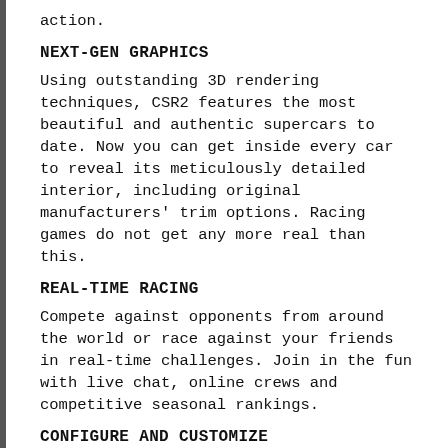action.
NEXT-GEN GRAPHICS
Using outstanding 3D rendering techniques, CSR2 features the most beautiful and authentic supercars to date. Now you can get inside every car to reveal its meticulously detailed interior, including original manufacturers' trim options. Racing games do not get any more real than this.
REAL-TIME RACING
Compete against opponents from around the world or race against your friends in real-time challenges. Join in the fun with live chat, online crews and competitive seasonal rankings.
CONFIGURE AND CUSTOMIZE
Customize your car with a wide range of paint, rims, brake calipers and interior trims, just as